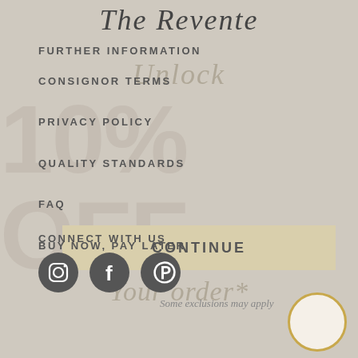The Revente
FURTHER INFORMATION
CONSIGNOR TERMS
PRIVACY POLICY
QUALITY STANDARDS
FAQ
BUY NOW, PAY LATER
[Figure (infographic): Promotional overlay showing 'Unlock 10% OFF Your order*' in large stylized text]
CONNECT WITH US
CONTINUE
Some exclusions may apply
[Figure (illustration): Three social media icons: Instagram, Facebook, Pinterest in dark circular buttons]